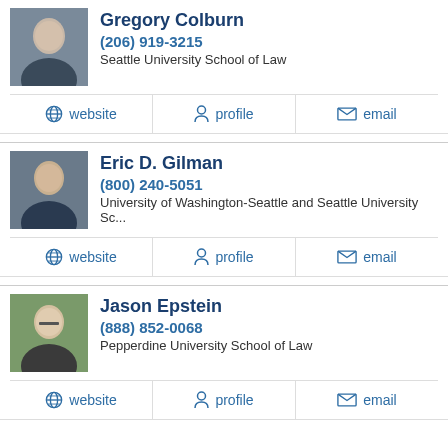Gregory Colburn
(206) 919-3215
Seattle University School of Law
website | profile | email
Eric D. Gilman
(800) 240-5051
University of Washington-Seattle and Seattle University Sc...
website | profile | email
Jason Epstein
(888) 852-0068
Pepperdine University School of Law
website | profile | email